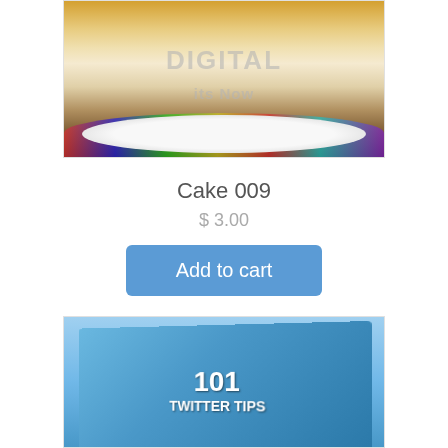[Figure (photo): Photo of a slice of layered cake with yellow topping on a decorative plate, with a watermark reading 'DIGITAL its Now']
Cake 009
$ 3.00
Add to cart
[Figure (photo): Book cover for '101 Twitter Tips' featuring blue cartoon birds]